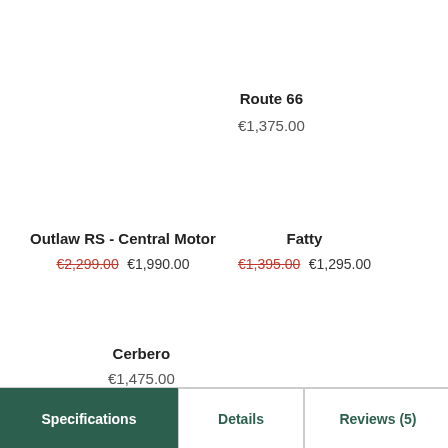Route 66
€1,375.00
Outlaw RS - Central Motor
€2,299.00 €1,990.00
Fatty
€1,395.00 €1,295.00
Cerbero
€1,475.00
Specifications | Details | Reviews (5)